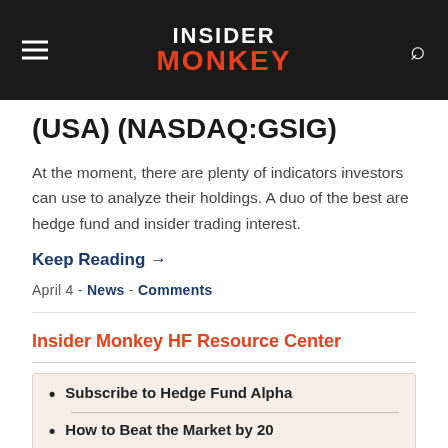INSIDER MONKEY
(USA) (NASDAQ:GSIG)
At the moment, there are plenty of indicators investors can use to analyze their holdings. A duo of the best are hedge fund and insider trading interest.
Keep Reading →
April 4 - News - Comments
Insider Monkey HF Resource Center
Subscribe to Hedge Fund Alpha
How to Beat the Market by 20